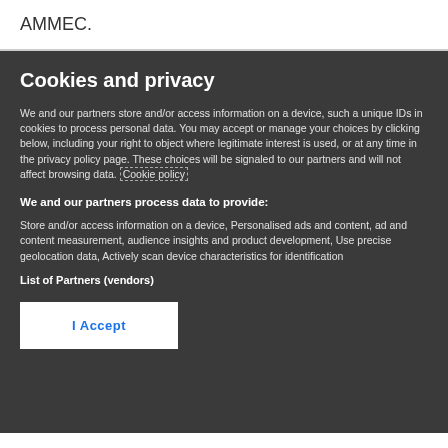AMMEC.
Cookies and privacy
We and our partners store and/or access information on a device, such a unique IDs in cookies to process personal data. You may accept or manage your choices by clicking below, including your right to object where legitimate interest is used, or at any time in the privacy policy page. These choices will be signaled to our partners and will not affect browsing data. Cookie policy
We and our partners process data to provide:
Store and/or access information on a device, Personalised ads and content, ad and content measurement, audience insights and product development, Use precise geolocation data, Actively scan device characteristics for identification
List of Partners (vendors)
I Accept